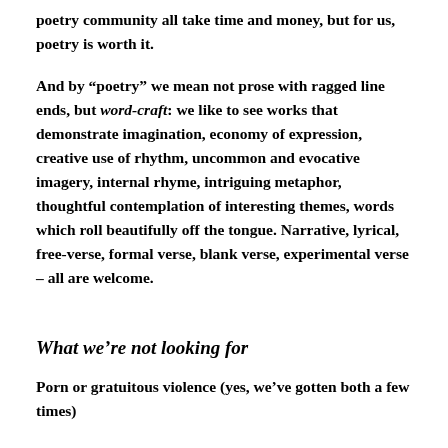poetry community all take time and money, but for us, poetry is worth it.
And by “poetry” we mean not prose with ragged line ends, but word-craft: we like to see works that demonstrate imagination, economy of expression, creative use of rhythm, uncommon and evocative imagery, internal rhyme, intriguing metaphor, thoughtful contemplation of interesting themes, words which roll beautifully off the tongue. Narrative, lyrical, free-verse, formal verse, blank verse, experimental verse – all are welcome.
What we’re not looking for
Porn or gratuitous violence (yes, we’ve gotten both a few times)